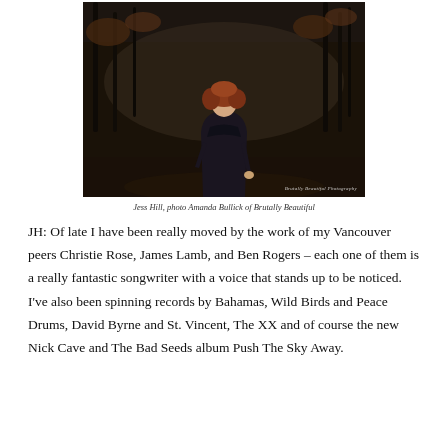[Figure (photo): Young woman with red curly hair wearing a dark coat standing in a forest with bare autumn trees. Photo by Amanda Bullick of Brutally Beautiful Photography.]
Jess Hill, photo Amanda Bullick of Brutally Beautiful
JH: Of late I have been really moved by the work of my Vancouver peers Christie Rose, James Lamb, and Ben Rogers – each one of them is a really fantastic songwriter with a voice that stands up to be noticed. I've also been spinning records by Bahamas, Wild Birds and Peace Drums, David Byrne and St. Vincent, The XX and of course the new Nick Cave and The Bad Seeds album Push The Sky Away.